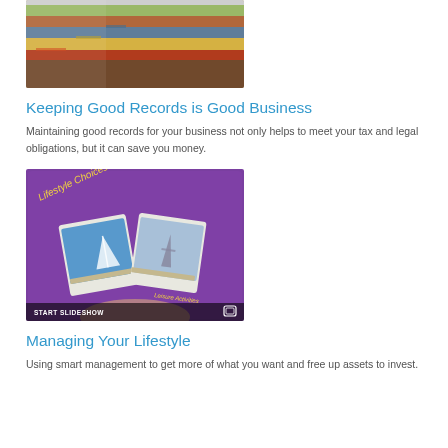[Figure (photo): Stack of colorful file folders and binders, representing business record keeping]
Keeping Good Records is Good Business
Maintaining good records for your business not only helps to meet your tax and legal obligations, but it can save you money.
[Figure (screenshot): Tablet screen showing a slideshow titled 'Lifestyle Choices: Luxury & Leisure' with photos of a sailboat and the Eiffel Tower, with a START SLIDESHOW button at the bottom]
Managing Your Lifestyle
Using smart management to get more of what you want and free up assets to invest.